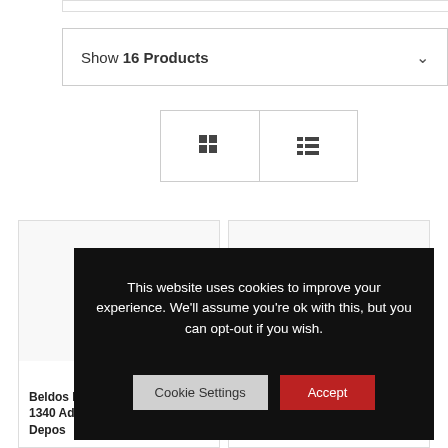Show 16 Products
[Figure (screenshot): Grid and list view toggle icons]
[Figure (photo): Product image area - left card (blank/empty)]
[Figure (photo): Product image - right card showing a metallic cylindrical component]
Beldos B... 1340 Adv... Depos...
Advanced
This website uses cookies to improve your experience. We'll assume you're ok with this, but you can opt-out if you wish.